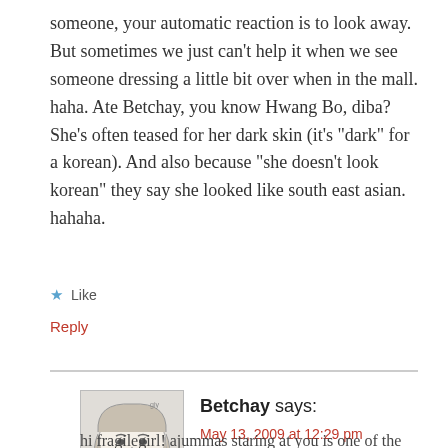someone, your automatic reaction is to look away. But sometimes we just can’t help it when we see someone dressing a little bit over when in the mall. haha. Ate Betchay, you know Hwang Bo, diba? She’s often teased for her dark skin (it’s “dark” for a korean). And also because “she doesn’t look korean” they say she looked like south east asian. hahaha.
★ Like
Reply
Betchay says:
May 13, 2009 at 12:29 pm
hi fragilegirl! ajummas staring at you is one of the